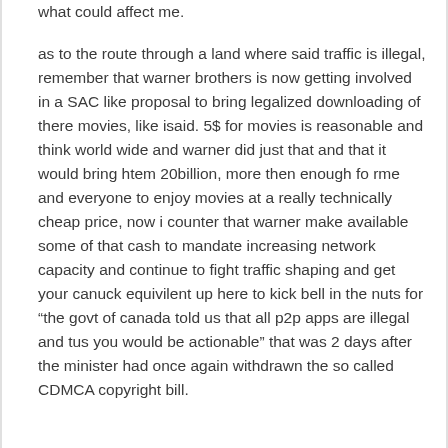what could affect me.
as to the route through a land where said traffic is illegal, remember that warner brothers is now getting involved in a SAC like proposal to bring legalized downloading of there movies, like isaid. 5$ for movies is reasonable and think world wide and warner did just that and that it would bring htem 20billion, more then enough fo rme and everyone to enjoy movies at a really technically cheap price, now i counter that warner make available some of that cash to mandate increasing network capacity and continue to fight traffic shaping and get your canuck equivilent up here to kick bell in the nuts for “the govt of canada told us that all p2p apps are illegal and tus you would be actionable” that was 2 days after the minister had once again withdrawn the so called CDMCA copyright bill.